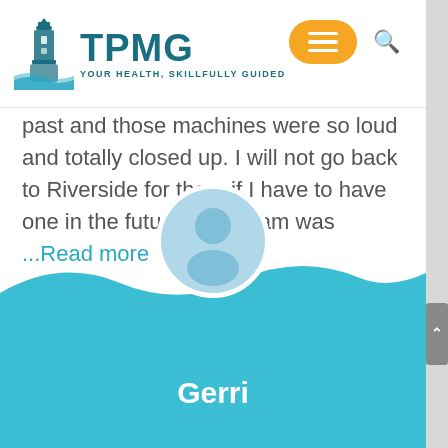TPMG — YOUR HEALTH, SKILLFULLY GUIDED
past and those machines were so loud and totally closed up. I will not go back to Riverside for them if I have to have one in the future. This team was   ...Read more
[Figure (illustration): Teal wave background with a circular grey avatar/person silhouette placeholder image centered above the wave]
Gerri